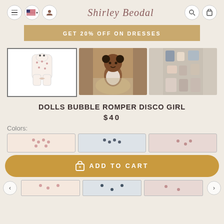Shirley Beodal
GET 20% OFF ON DRESSES
[Figure (photo): Three product thumbnail images: (1) romper garment on white background with selected border, (2) baby doll wearing the romper in natural setting, (3) overhead flat lay of doll clothes and accessories]
DOLLS BUBBLE ROMPER DISCO GIRL
$40
Colors:
[Figure (photo): Three color swatch options for the romper showing different colorways]
ADD TO CART